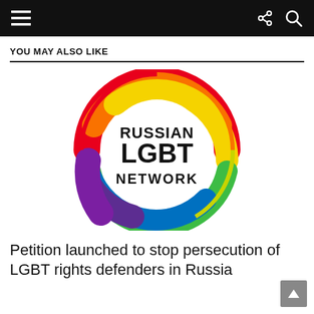Navigation bar with menu, share, and search icons
YOU MAY ALSO LIKE
[Figure (logo): Russian LGBT Network logo — a rainbow-colored circular brushstroke forming a ring, with the text RUSSIAN LGBT NETWORK in black on a white background inside the ring]
Petition launched to stop persecution of LGBT rights defenders in Russia